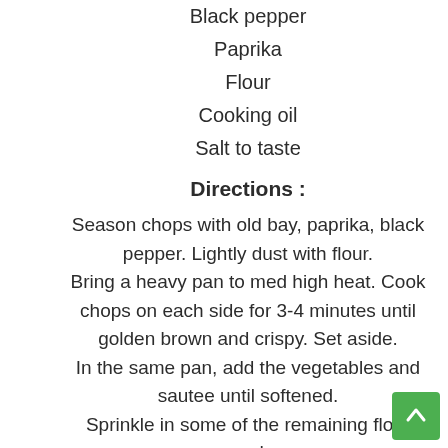Black pepper
Paprika
Flour
Cooking oil
Salt to taste
Directions :
Season chops with old bay, paprika, black pepper. Lightly dust with flour. Bring a heavy pan to med high heat. Cook chops on each side for 3-4 minutes until golden brown and crispy. Set aside. In the same pan, add the vegetables and sautee until softened. Sprinkle in some of the remaining flour and